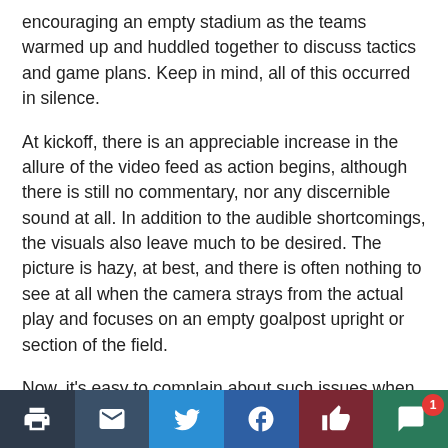encouraging an empty stadium as the teams warmed up and huddled together to discuss tactics and game plans. Keep in mind, all of this occurred in silence.
At kickoff, there is an appreciable increase in the allure of the video feed as action begins, although there is still no commentary, nor any discernible sound at all. In addition to the audible shortcomings, the visuals also leave much to be desired. The picture is hazy, at best, and there is often nothing to see at all when the camera strays from the actual play and focuses on an empty goalpost upright or section of the field.
Now, it’s easy to complain about such issues when we’re all spoiled by the excitement and intensity of being in a crowded stadium cheering on our team. It is football, something we enjoy and appreciate, and the
[Figure (infographic): Social sharing and action toolbar with six buttons: print (dark blue-grey), email (dark blue), Twitter (blue bird), Facebook (blue f), like/thumbs-up (dark red), and comment/speech bubble (dark green). A red notification badge with '1' appears on the comment button.]